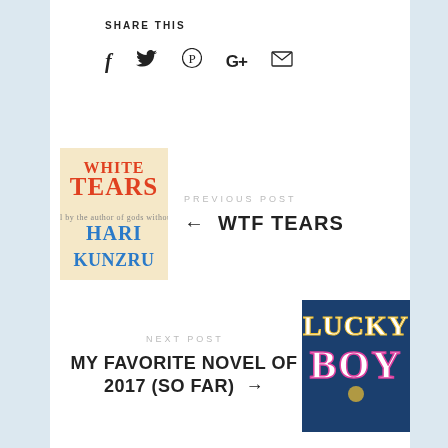SHARE THIS
[Figure (other): Social media sharing icons: Facebook (f), Twitter (bird), Pinterest (P), Google+ (G+), Email (envelope)]
PREVIOUS POST
[Figure (illustration): Book cover for White Tears by Hari Kunzru]
← WTF TEARS
NEXT POST
MY FAVORITE NOVEL OF 2017 (SO FAR) →
[Figure (illustration): Book cover for Lucky Boy showing colorful text LUCKY BOY on dark blue background]